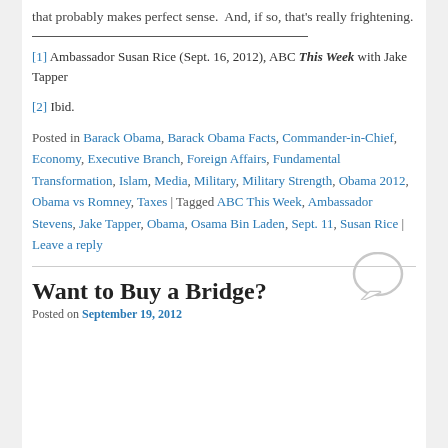that probably makes perfect sense.  And, if so, that's really frightening.
[1] Ambassador Susan Rice (Sept. 16, 2012), ABC This Week with Jake Tapper
[2] Ibid.
Posted in Barack Obama, Barack Obama Facts, Commander-in-Chief, Economy, Executive Branch, Foreign Affairs, Fundamental Transformation, Islam, Media, Military, Military Strength, Obama 2012, Obama vs Romney, Taxes | Tagged ABC This Week, Ambassador Stevens, Jake Tapper, Obama, Osama Bin Laden, Sept. 11, Susan Rice | Leave a reply
Want to Buy a Bridge?
Posted on September 19, 2012